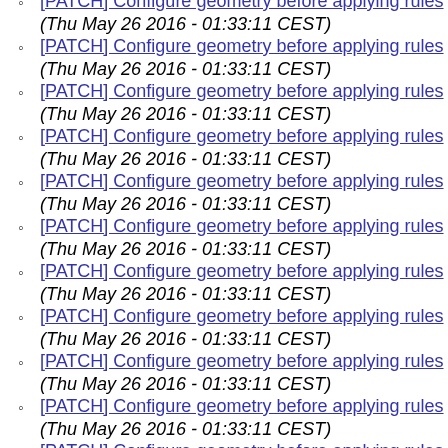[PATCH] Configure geometry before applying rules (Thu May 26 2016 - 01:33:11 CEST)
[PATCH] Configure geometry before applying rules (Thu May 26 2016 - 01:33:11 CEST)
[PATCH] Configure geometry before applying rules (Thu May 26 2016 - 01:33:11 CEST)
[PATCH] Configure geometry before applying rules (Thu May 26 2016 - 01:33:11 CEST)
[PATCH] Configure geometry before applying rules (Thu May 26 2016 - 01:33:11 CEST)
[PATCH] Configure geometry before applying rules (Thu May 26 2016 - 01:33:11 CEST)
[PATCH] Configure geometry before applying rules (Thu May 26 2016 - 01:33:11 CEST)
[PATCH] Configure geometry before applying rules (Thu May 26 2016 - 01:33:11 CEST)
[PATCH] Configure geometry before applying rules (Thu May 26 2016 - 01:33:11 CEST)
[PATCH] Configure geometry before applying rules (Thu May 26 2016 - 01:33:11 CEST)
[PATCH] Configure geometry before applying rules (Thu May 26 2016 - 01:33:11 CEST)
[PATCH] Configure geometry before applying rules (Thu May 26 2016 - 01:33:11 CEST)
[PATCH] Configure geometry before applying rules (Thu May 26 2016 - 01:33:11 CEST)